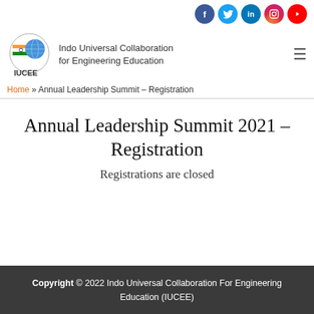[Figure (logo): IUCEE logo with Indian flag and globe, and social media icons (Facebook, Twitter, LinkedIn, Instagram, YouTube)]
Home » Annual Leadership Summit – Registration
Annual Leadership Summit 2021 – Registration
Registrations are closed
Copyright © 2022 Indo Universal Collaboration For Engineering Education (IUCEE)